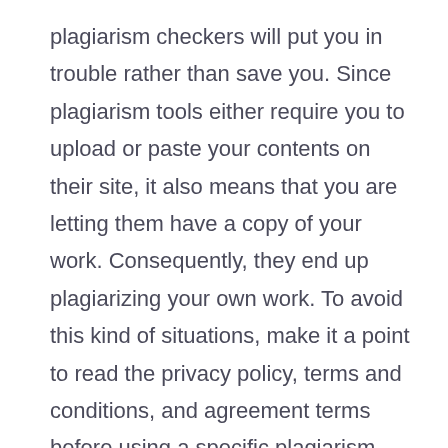plagiarism checkers will put you in trouble rather than save you. Since plagiarism tools either require you to upload or paste your contents on their site, it also means that you are letting them have a copy of your work. Consequently, they end up plagiarizing your own work. To avoid this kind of situations, make it a point to read the privacy policy, terms and conditions, and agreement terms before using a specific plagiarism tool.
2.  Provides A Detailed Report
Secondly, a great plagiarism checker offers